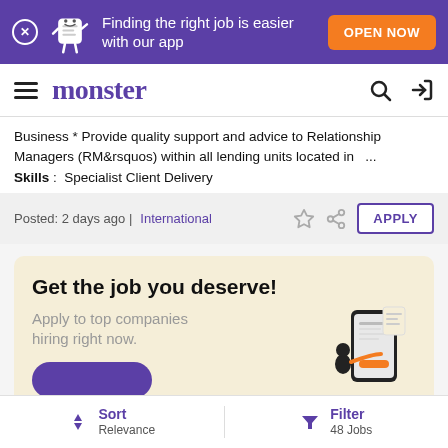[Figure (screenshot): Purple app download banner with Monster mascot, text 'Finding the right job is easier with our app' and orange 'OPEN NOW' button]
monster
Business * Provide quality support and advice to Relationship Managers (RM&rsquos) within all lending units located in ... Skills: Specialist Client Delivery
Posted: 2 days ago | International
[Figure (illustration): Promotional card with text 'Get the job you deserve! Apply to top companies hiring right now.' with illustration of person using phone app]
Sort Relevance | Filter 48 Jobs